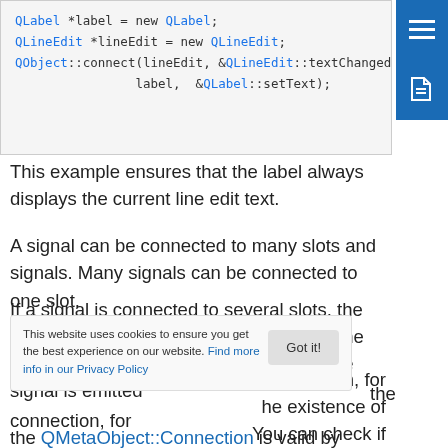[Figure (screenshot): Code block showing QLabel and QLineEdit C++ Qt code with syntax highlighting]
This example ensures that the label always displays the current line edit text.
A signal can be connected to many slots and signals. Many signals can be connected to one slot.
If a signal is connected to several slots, the slots are activated in the same order as the order the connection was made, when the signal is emitted
The function returns an handle to a connection if it successfully connects the signal to the slot. The Connection
the connection, for
he existence of
You can check if
the QMetaObject::Connection is valid by casting it to a
[Figure (screenshot): Cookie consent banner with 'Got it!' button and link to Privacy Policy]